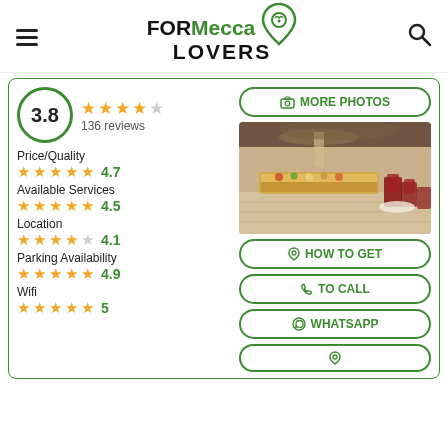FORMecca LOVERS
3.8 — 136 reviews
Price/Quality 4.7
Available Services 4.5
Location 4.1
Parking Availability 4.9
Wifi 5
[Figure (photo): Interior photo of a hotel restaurant/buffet with marble floors, chandelier, food counters, and red chairs]
MORE PHOTOS
HOW TO GET
TO CALL
WHATSAPP